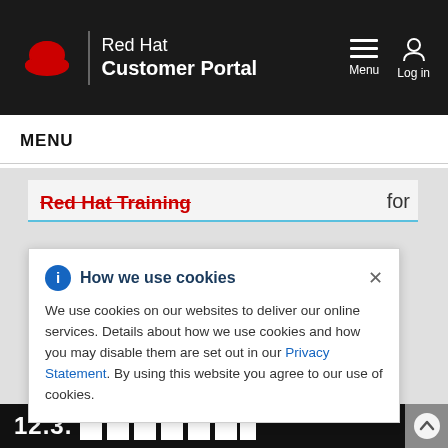Red Hat Customer Portal
MENU
Red Hat Training
for
How we use cookies
We use cookies on our websites to deliver our online services. Details about how we use cookies and how you may disable them are set out in our Privacy Statement. By using this website you agree to our use of cookies.
12.3.